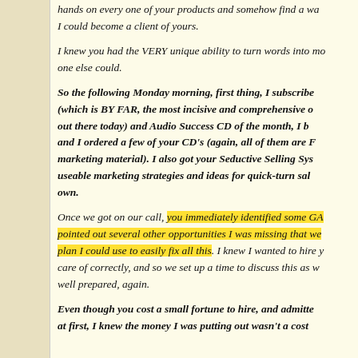hands on every one of your products and somehow find a way I could become a client of yours.
I knew you had the VERY unique ability to turn words into money like no one else could.
So the following Monday morning, first thing, I subscribed (which is BY FAR, the most incisive and comprehensive out there today) and Audio Success CD of the month, I b and I ordered a few of your CD's (again, all of them are F marketing material). I also got your Seductive Selling Sys useable marketing strategies and ideas for quick-turn sal own.
Once we got on our call, you immediately identified some GA pointed out several other opportunities I was missing that we plan I could use to easily fix all this. I knew I wanted to hire y care of correctly, and so we set up a time to discuss this as w well prepared, again.
Even though you cost a small fortune to hire, and admitte at first, I knew the money I was putting out wasn't a cost